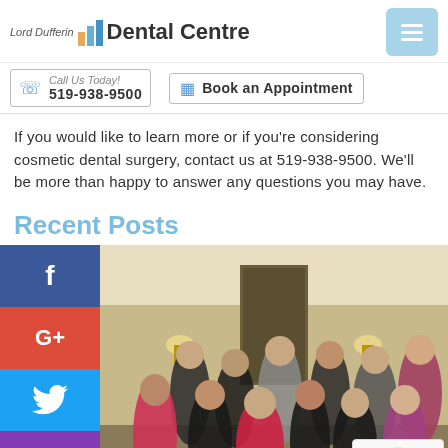Lord Dufferin Dental Centre
Call Us Today! 519-938-9500
Book an Appointment
If you would like to learn more or if you're considering cosmetic dental surgery, contact us at 519-938-9500. We'll be more than happy to answer any questions you may have.
Recent Posts
[Figure (photo): Group photo of dental office staff dressed in formal/semi-formal attire, standing together in a warmly lit venue room.]